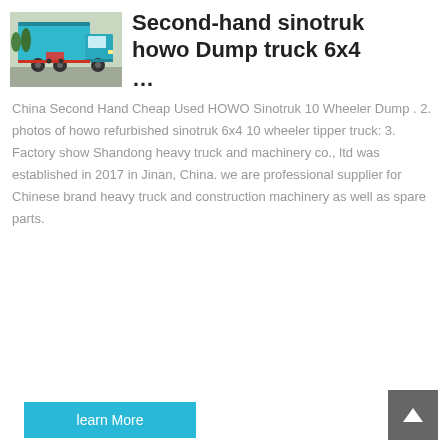[Figure (photo): Photo of a teal/blue second-hand sinotruk howo dump truck parked on a road, rear three-quarter view]
Second-hand sinotruk howo Dump truck 6x4 ...
China Second Hand Cheap Used HOWO Sinotruk 10 Wheeler Dump . 2. photos of howo refurbished sinotruk 6x4 10 wheeler tipper truck: 3. Factory show Shandong heavy truck and machinery co., ltd was established in 2017 in Jinan, China. we are professional supplier for Chinese brand heavy truck and construction machinery as well as spare parts.
learn More